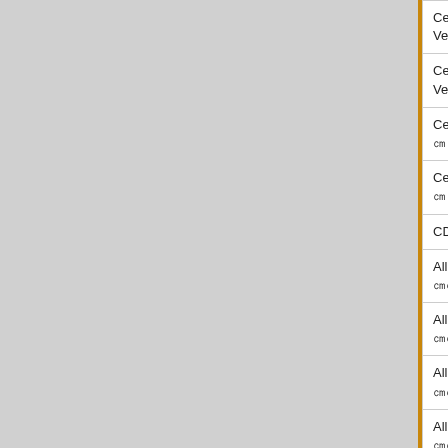| 製品名 |  | 日付 |
| --- | --- | --- |
| CentreNET SwimView Ver.3.x EX㎝㎝㎝㎝㎝ |  | 2016/03/3 |
| CentreNET SwimView Ver.3.x NS㎝㎝㎝㎝ |  | 2016/03/3 |
| CentreNET SwimSuite A㎝㎝㎝ |  | 2016/03/3 |
| CentreNET SwimSuite B㎝㎝㎝ |  | 2016/03/3 |
| CD-R ㎝㎝㎝㎝㎝㎝ |  | 2016/03/3 |
| Allied SkyMarshal Ver.1.x ㎝㎝㎝㎝㎝㎝ (10㎝㎝㎝㎝) |  | 2016/03/3 |
| Allied SkyMarshal Ver.1.x ㎝㎝㎝㎝㎝㎝ (30㎝㎝㎝㎝) |  | 2016/03/3 |
| Allied SkyMarshal Ver.1.x ㎝㎝㎝㎝㎝㎝ (100㎝㎝㎝㎝) |  | 2016/03/3 |
| Allied SkyMarshal Ver.1.x ㎝㎝㎝㎝㎝㎝ (50㎝㎝㎝㎝) |  | 2016/03/3 |
| Allied SkyMarshal Ver.1.x ㎝㎝㎝㎝㎝㎝ (100㎝㎝㎝㎝) |  | 2016/03/3 |
| Allied SkyMarshal Ver.1.x ㎝㎝㎝㎝㎝㎝ (500㎝㎝㎝㎝) |  | 2016/03/3 |